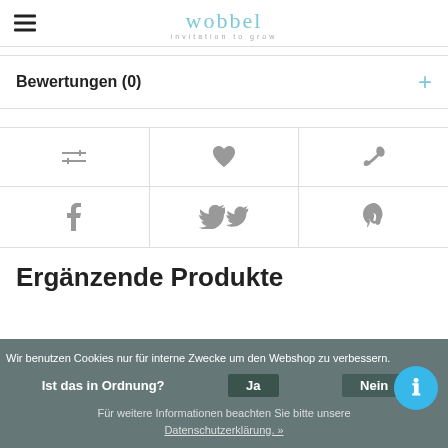wobbel – invitation to grow
Bewertungen (0)
[Figure (other): Icon grid with compare, wishlist, phone, facebook, twitter, pinterest icons]
Ergänzende Produkte
Wir benutzen Cookies nur für interne Zwecke um den Webshop zu verbessern. Ist das in Ordnung? Ja Nein Für weitere Informationen beachten Sie bitte unsere Datenschutzerklärung. »